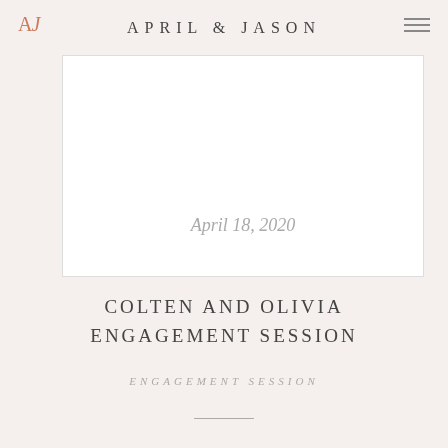APRIL & JASON
[Figure (photo): White card/image area with the handwritten cursive text 'April 18, 2020' near the bottom center]
COLTEN AND OLIVIA ENGAGEMENT SESSION
ENGAGEMENT SESSION